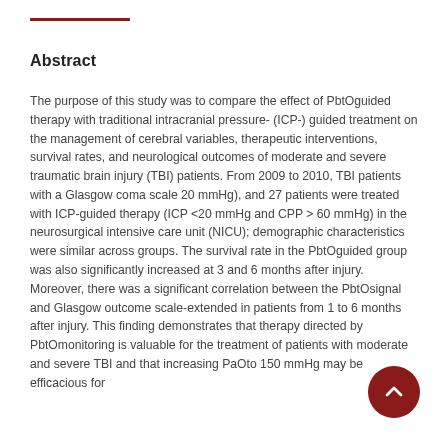Abstract
The purpose of this study was to compare the effect of PbtOguided therapy with traditional intracranial pressure- (ICP-) guided treatment on the management of cerebral variables, therapeutic interventions, survival rates, and neurological outcomes of moderate and severe traumatic brain injury (TBI) patients. From 2009 to 2010, TBI patients with a Glasgow coma scale 20 mmHg), and 27 patients were treated with ICP-guided therapy (ICP <20 mmHg and CPP > 60 mmHg) in the neurosurgical intensive care unit (NICU); demographic characteristics were similar across groups. The survival rate in the PbtOguided group was also significantly increased at 3 and 6 months after injury. Moreover, there was a significant correlation between the PbtOsignal and Glasgow outcome scale-extended in patients from 1 to 6 months after injury. This finding demonstrates that therapy directed by PbtOmonitoring is valuable for the treatment of patients with moderate and severe TBI and that increasing PaOto 150 mmHg may be efficacious for